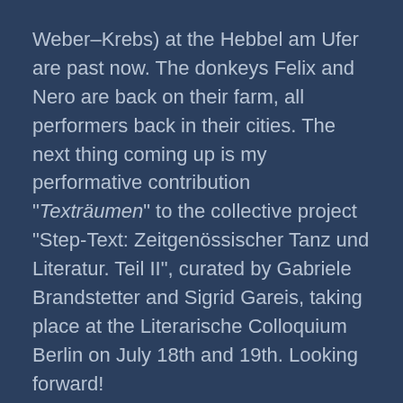Weber–Krebs) at the Hebbel am Ufer are past now. The donkeys Felix and Nero are back on their farm, all performers back in their cities. The next thing coming up is my performative contribution “Texträumen” to the collective project “Step-Text: Zeitgenössischer Tanz und Literatur. Teil II”, curated by Gabriele Brandstetter and Sigrid Gareis, taking place at the Literarische Colloquium Berlin on July 18th and 19th. Looking forward!
May.
Last Saturday my research presentation MEHRSTIMMIGKEITEN_research took place and was fun! A great thank you to my collaborators